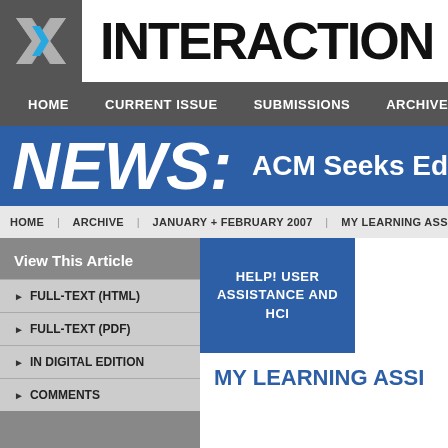[Figure (logo): Interactions magazine logo — grey box with stylized X in blue and grey, followed by 'INTERACTIONS' in bold black text]
HOME  |  CURRENT ISSUE  |  SUBMISSIONS  |  ARCHIVE  |  ...
NEWS:  ACM Seeks Edit...
HOME | ARCHIVE | JANUARY + FEBRUARY 2007 | MY LEARNING ASSISTANT
View This Article
FULL-TEXT (HTML)
FULL-TEXT (PDF)
IN DIGITAL EDITION
COMMENTS
[Figure (illustration): Blue square thumbnail with white text reading 'HELP! USER ASSISTANCE AND HCI']
MY LEARNING ASSI...